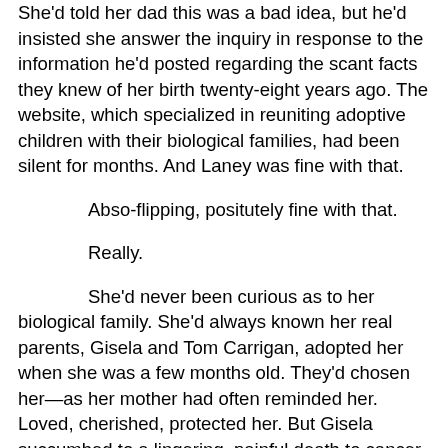She'd told her dad this was a bad idea, but he'd insisted she answer the inquiry in response to the information he'd posted regarding the scant facts they knew of her birth twenty-eight years ago. The website, which specialized in reuniting adoptive children with their biological families, had been silent for months. And Laney was fine with that.

Abso-flipping, positutely fine with that.

Really.

She'd never been curious as to her biological family. She'd always known her real parents, Gisela and Tom Carrigan, adopted her when she was a few months old. They'd chosen her—as her mother had often reminded her. Loved, cherished, protected her. But Gisela succumbed to a lingering, painful death to cancer three years ago.

Then her dad—administrative guru to the five stars at the Pentagon, able to cut through bureaucratic red tape and leap over snafus in a single bound—had the bright idea to post a picture of the quilt in which she'd come wrapped on...